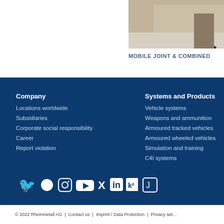[Figure (photo): Partial photo of a person standing, visible from waist down, on a light-coloured floor]
MOBILE JOINT & COMBINED
Company
Locations worldwide
Subsidiaries
Corporate social responsibility
Career
Report violation
Systems and Products
Vehicle systems
Weapons and ammunition
Armoured tracked vehicles
Armoured wheeled vehicles
Simulation and training
C4I systems
[Figure (logo): Social media icons: Twitter, Instagram, YouTube, Xing, LinkedIn, Kununu, and one more icon]
© 2022 Rheinmetall AG | Contact us | Imprint / Data Protection | Privacy settings